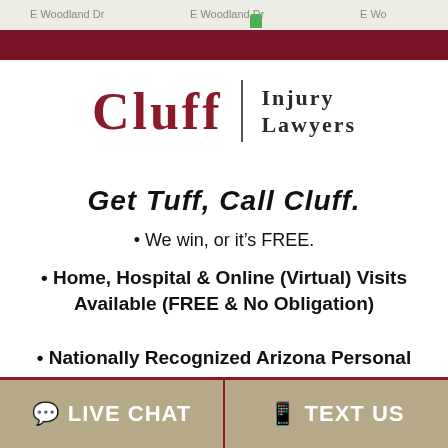[Figure (map): Partial map screenshot background at top of page with street labels visible]
[Figure (logo): Cluff Injury Lawyers logo with red CLUFF text, vertical divider, and INJURY LAWYERS text in dark serif font]
Get Tuff, Call Cluff.
• We win, or it's FREE.
• Home, Hospital & Online (Virtual) Visits Available (FREE & No Obligation)
• Nationally Recognized Arizona Personal Injury Attorneys
LIVE CHAT | TEXT US